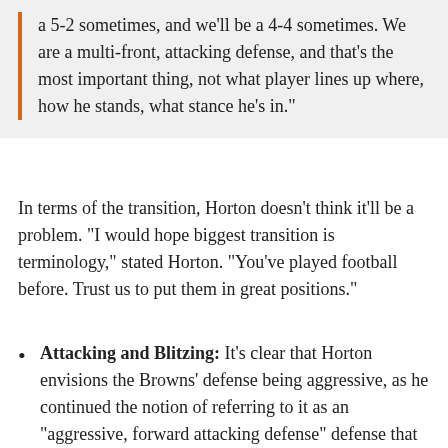a 5-2 sometimes, and we'll be a 4-4 sometimes. We are a multi-front, attacking defense, and that's the most important thing, not what player lines up where, how he stands, what stance he's in."
In terms of the transition, Horton doesn't think it'll be a problem. "I would hope biggest transition is terminology," stated Horton. "You've played football before. Trust us to put them in great positions."
Attacking and Blitzing: It's clear that Horton envisions the Browns' defense being aggressive, as he continued the notion of referring to it as an "aggressive, forward attacking defense" defense that plans to blitz a lot. "We are gonna be a defense that gives offenses problems," said Horton. "We'll give you problems offensively"